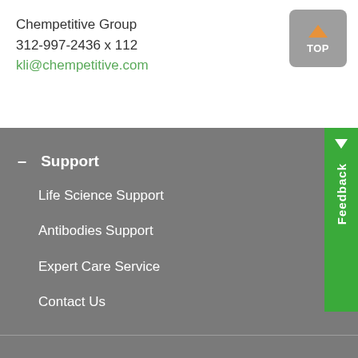Chempetitive Group
312-997-2436 x 112
kli@chempetitive.com
– Support
Life Science Support
Antibodies Support
Expert Care Service
Contact Us
+ Documents
+ Ordering